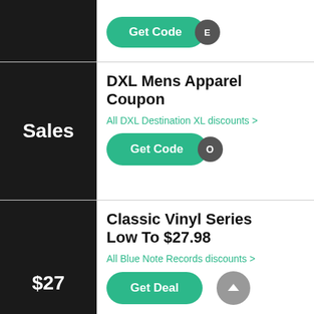[Figure (screenshot): Partial top row with Get Code button and 'E' badge on dark background]
Sales
DXL Mens Apparel Coupon
All DXL Destination XL discounts >
[Figure (screenshot): Get Code button with circular badge showing 'O']
$27
Classic Vinyl Series Low To $27.98
All Blue Note Records discounts >
[Figure (screenshot): Get Deal button with scroll-up arrow button]
Airbnb E-Gift Cards Starting At $25